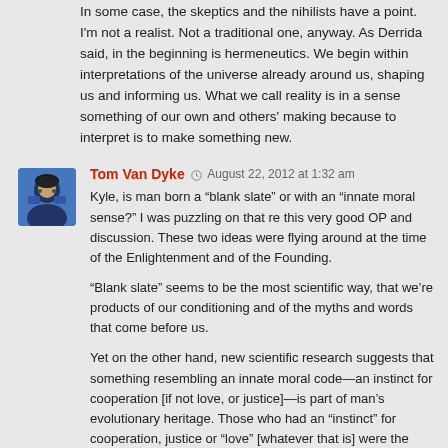In some case, the skeptics and the nihilists have a point. I'm not a realist. Not a traditional one, anyway. As Derrida said, in the beginning is hermeneutics. We begin within interpretations of the universe already around us, shaping us and informing us. What we call reality is in a sense something of our own and others' making because to interpret is to make something new.
Tom Van Dyke  © August 22, 2012 at 1:32 am
Kyle, is man born a "blank slate" or with an "innate moral sense?" I was puzzling on that re this very good OP and discussion. These two ideas were flying around at the time of the Enlightenment and of the Founding.
"Blank slate" seems to be the most scientific way, that we're products of our conditioning and of the myths and words that come before us.
Yet on the other hand, new scientific research suggests that something resembling an innate moral code—an instinct for cooperation [if not love, or justice]—is part of man's evolutionary heritage. Those who had an "instinct" for cooperation, justice or "love" [whatever that is] were the